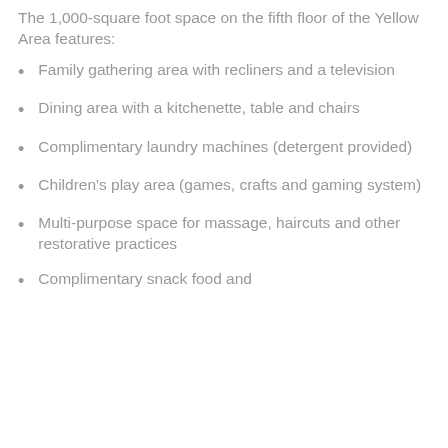The 1,000-square foot space on the fifth floor of the Yellow Area features:
Family gathering area with recliners and a television
Dining area with a kitchenette, table and chairs
Complimentary laundry machines (detergent provided)
Children's play area (games, crafts and gaming system)
Multi-purpose space for massage, haircuts and other restorative practices
Complimentary snack food and...